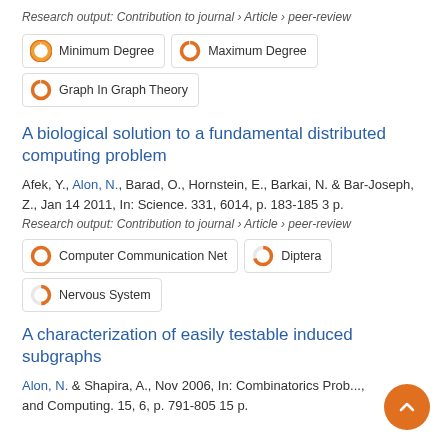Research output: Contribution to journal › Article › peer-review
Minimum Degree
Maximum Degree
Graph In Graph Theory
A biological solution to a fundamental distributed computing problem
Afek, Y., Alon, N., Barad, O., Hornstein, E., Barkai, N. & Bar-Joseph, Z., Jan 14 2011, In: Science. 331, 6014, p. 183-185 3 p.
Research output: Contribution to journal › Article › peer-review
Computer Communication Net
Diptera
Nervous System
A characterization of easily testable induced subgraphs
Alon, N. & Shapira, A., Nov 2006, In: Combinatorics Probability and Computing. 15, 6, p. 791-805 15 p.